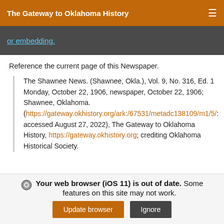The Gateway to Oklahoma History
or embedding.
Reference the current page of this Newspaper.
The Shawnee News. (Shawnee, Okla.), Vol. 9, No. 316, Ed. 1 Monday, October 22, 1906, newspaper, October 22, 1906; Shawnee, Oklahoma. (https://gateway.okhistory.org/ark:/67531/metadc138109/m1/5/: accessed August 27, 2022), The Gateway to Oklahoma History, https://gateway.okhistory.org; crediting Oklahoma Historical Society.
Your web browser (iOS 11) is out of date. Some features on this site may not work.